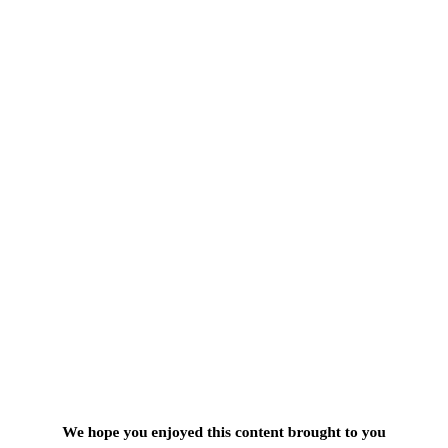We hope you enjoyed this content brought to you